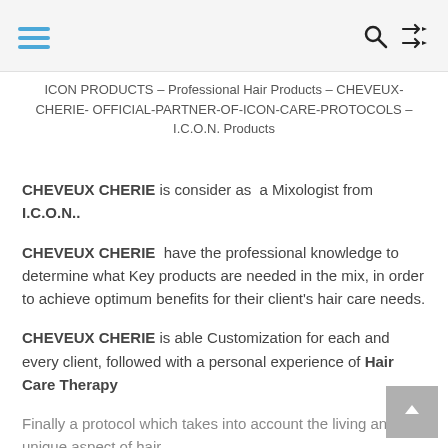ICON PRODUCTS – Professional Hair Products – CHEVEUX-CHERIE- OFFICIAL-PARTNER-OF-ICON-CARE-PROTOCOLS – I.C.O.N. Products
CHEVEUX CHERIE is consider as a Mixologist from I.C.O.N..
CHEVEUX CHERIE have the professional knowledge to determine what Key products are needed in the mix, in order to achieve optimum benefits for their client's hair care needs.
CHEVEUX CHERIE is able Customization for each and every client, followed with a personal experience of Hair Care Therapy
Finally a protocol which takes into account the living and unique aspect of hair.